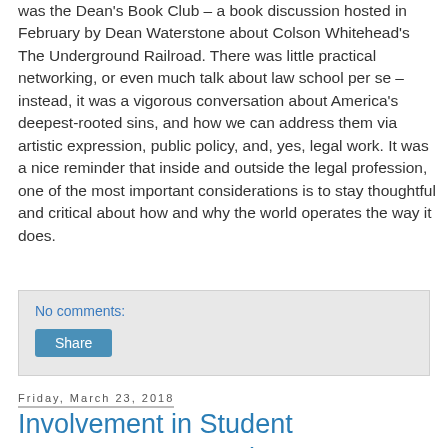was the Dean's Book Club – a book discussion hosted in February by Dean Waterstone about Colson Whitehead's The Underground Railroad. There was little practical networking, or even much talk about law school per se – instead, it was a vigorous conversation about America's deepest-rooted sins, and how we can address them via artistic expression, public policy, and, yes, legal work. It was a nice reminder that inside and outside the legal profession, one of the most important considerations is to stay thoughtful and critical about how and why the world operates the way it does.
No comments:
Share
Friday, March 23, 2018
Involvement in Student Government as a First Year Evening Student Bar